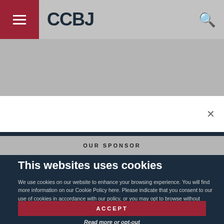CCBJ
OUR SPONSOR
This websites uses cookies
We use cookies on our website to enhance your browsing experience. You will find more information on our Cookie Policy here. Please indicate that you consent to our use of cookies in accordance with our policy, or you may opt to browse without cookies.
ACCEPT
Read more or opt-out